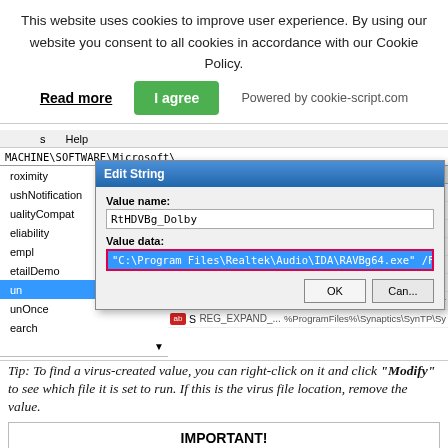This website uses cookies to improve user experience. By using our website you consent to all cookies in accordance with our Cookie Policy. Read more  I agree  Powered by cookie-script.com
[Figure (screenshot): Windows Registry Editor screenshot showing an 'Edit String' dialog box with Value name 'RtHDVBg_Dolby' and Value data 'C:\Program Files\Realtek\Audio\IDA\RAVBg64.exe" /FORPCEE4'. The registry left panel shows entries including proximity, pushNotification, qualityCompat, eliability, empl, etailDemo, un, unOnce, earch. The right panel shows entries: BtTray, RtHDVBg_ (multiple), RtHDVCpl, RtsFT, SecurityHea... REG_EXPAND_... %ProgramFiles%\Windows Defender, SynTPEnh REG_EXPAND_... %ProgramFiles%\Synaptics\SynTP\Sy]
Tip: To find a virus-created value, you can right-click on it and click "Modify" to see which file it is set to run. If this is the virus file location, remove the value.
IMPORTANT! Before starting "Step 4", please boot back into Normal mode, in case you are currently in Safe